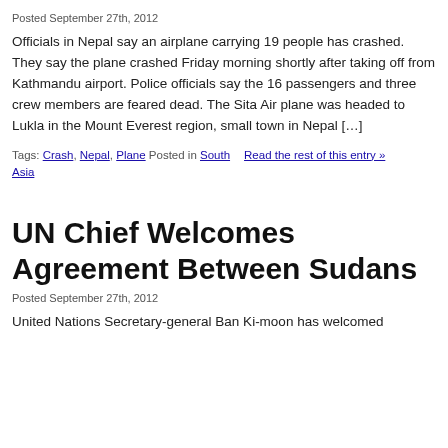Posted September 27th, 2012
Officials in Nepal say an airplane carrying 19 people has crashed. They say the plane crashed Friday morning shortly after taking off from Kathmandu airport. Police officials say the 16 passengers and three crew members are feared dead. The Sita Air plane was headed to Lukla in the Mount Everest region, small town in Nepal […]
Tags: Crash, Nepal, Plane Posted in South Asia  Read the rest of this entry »
UN Chief Welcomes Agreement Between Sudans
Posted September 27th, 2012
United Nations Secretary-general Ban Ki-moon has welcomed